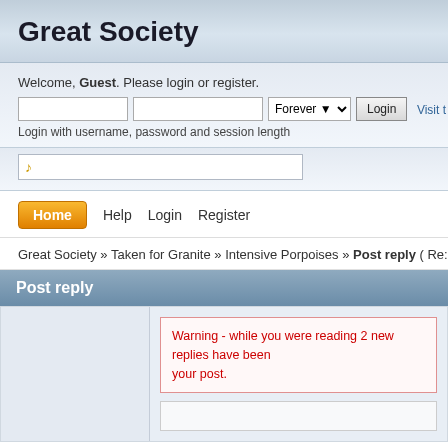Great Society
Welcome, Guest. Please login or register.
Login with username, password and session length
Visit t
Home   Help   Login   Register
Great Society » Taken for Granite » Intensive Porpoises » Post reply ( Re: Youtubin )
Post reply
Warning - while you were reading 2 new replies have been your post.